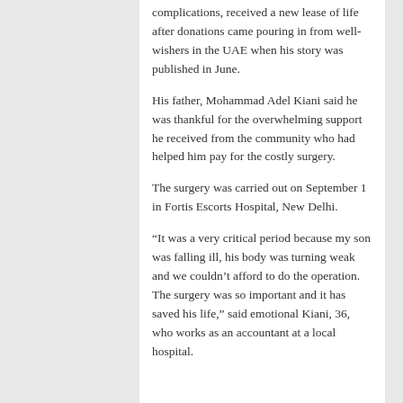complications, received a new lease of life after donations came pouring in from well-wishers in the UAE when his story was published in June.
His father, Mohammad Adel Kiani said he was thankful for the overwhelming support he received from the community who had helped him pay for the costly surgery.
The surgery was carried out on September 1 in Fortis Escorts Hospital, New Delhi.
“It was a very critical period because my son was falling ill, his body was turning weak and we couldn’t afford to do the operation. The surgery was so important and it has saved his life,” said emotional Kiani, 36, who works as an accountant at a local hospital.